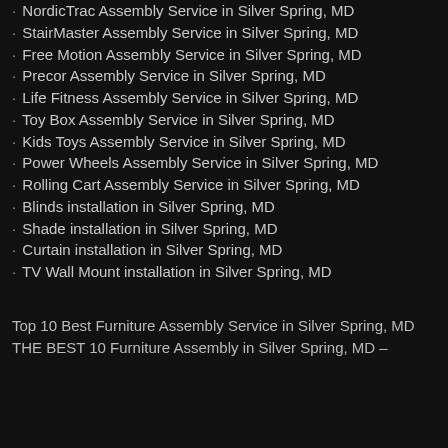· NordicTrac Assembly Service in Silver Spring, MD
· StairMaster Assembly Service in Silver Spring, MD
· Free Motion Assembly Service in Silver Spring, MD
· Precor Assembly Service in Silver Spring, MD
· Life Fitness Assembly Service in Silver Spring, MD
· Toy Box Assembly Service in Silver Spring, MD
· Kids Toys Assembly Service in Silver Spring, MD
· Power Wheels Assembly Service in Silver Spring, MD
· Rolling Cart Assembly Service in Silver Spring, MD
· Blinds installation in Silver Spring, MD
· Shade installation in Silver Spring, MD
· Curtain installation in Silver Spring, MD
· TV Wall Mount installation in Silver Spring, MD
Top 10 Best Furniture Assembly Service in Silver Spring, MD
THE BEST 10 Furniture Assembly in Silver Spring, MD –